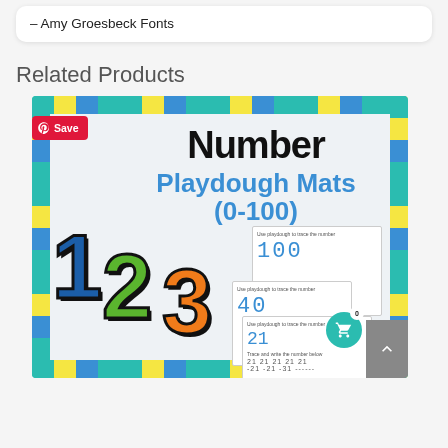– Amy Groesbeck Fonts
Related Products
[Figure (illustration): Product cover image for 'Number Playdough Mats (0-100)' educational resource. Shows colorful numbers 1, 2, 3 in green, blue, and orange with a decorative border of teal, yellow, and blue chevron pattern. Includes sample worksheet pages showing number tracing activities. A red Pinterest 'Save' button is overlaid in the top-left corner.]